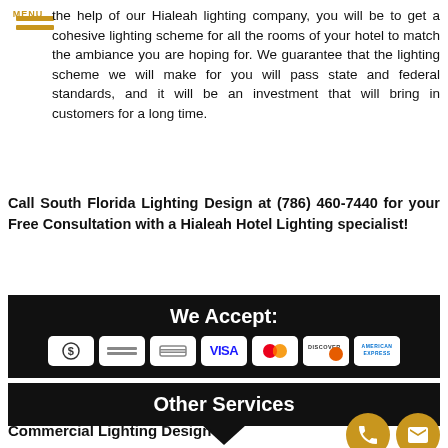MENU
the help of our Hialeah lighting company, you will be to get a cohesive lighting scheme for all the rooms of your hotel to match the ambiance you are hoping for. We guarantee that the lighting scheme we will make for you will pass state and federal standards, and it will be an investment that will bring in customers for a long time.
Call South Florida Lighting Design at (786) 460-7440 for your Free Consultation with a Hialeah Hotel Lighting specialist!
[Figure (infographic): Black background section showing 'We Accept:' with payment method icons including cash, check, credit card, Visa, Mastercard, Discover, and American Express]
[Figure (infographic): Black background section showing 'Other Services' header with a downward arrow below]
Commercial Lighting Design
[Figure (infographic): Two gold/amber circular icons at bottom right: a phone icon and an envelope/mail icon]